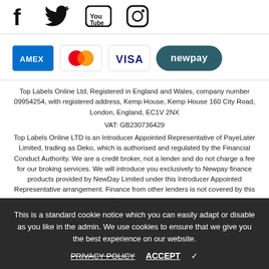[Figure (illustration): Social media icons: Facebook, Twitter, YouTube, Instagram]
[Figure (illustration): Payment method logos: AMEX, Mastercard, VISA, Newpay]
Top Labels Online Ltd, Registered in England and Wales, company number 09954254, with registered address, Kemp House, Kemp House 160 City Road, London, England, EC1V 2NX
VAT: GB230736429
Top Labels Online LTD is an Introducer Appointed Representative of PayeLater Limited, trading as Deko, which is authorised and regulated by the Financial Conduct Authority. We are a credit broker, not a lender and do not charge a fee for our broking services. We will introduce you exclusively to Newpay finance products provided by NewDay Limited under this Introducer Appointed Representative arrangement. Finance from other lenders is not covered by this regulatory arrangement.
This is a standard cookie notice which you can easily adapt or disable as you like in the admin. We use cookies to ensure that we give you the best experience on our website.
PRIVACY POLICY    ACCEPT ✓